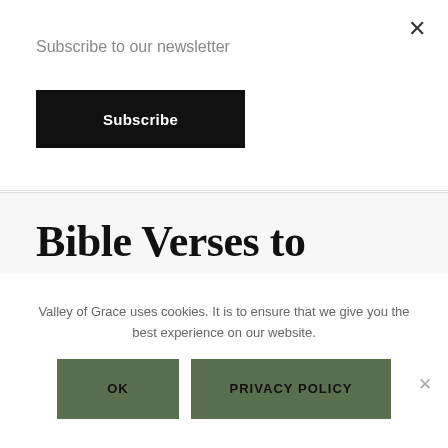Subscribe to our newsletter
Subscribe
Bible Verses to Meditate on:
Valley of Grace uses cookies. It is to ensure that we give you the best experience on our website.
OK
PRIVACY POLICY